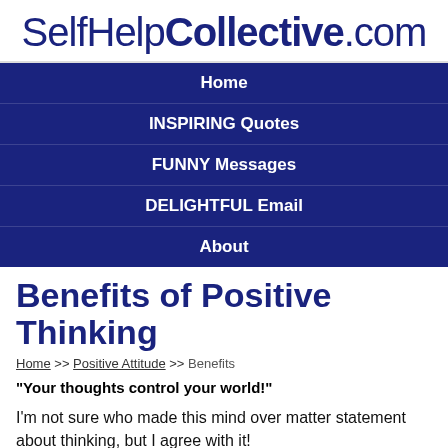SelfHelpCollective.com
Home
INSPIRING Quotes
FUNNY Messages
DELIGHTFUL Email
About
Benefits of Positive Thinking
Home >> Positive Attitude >> Benefits
"Your thoughts control your world!"
I'm not sure who made this mind over matter statement about thinking, but I agree with it!